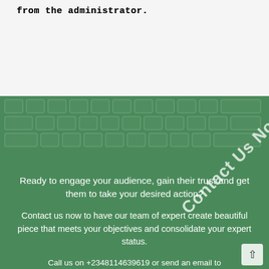from the administrator.
[Figure (photo): Green section with keyboard texture background, diagonal watermark text 'Contact Us Now', and a hand holding a smartphone showing 'Hello' screen. Contains marketing text overlaid on the image.]
Ready to engage your audience, gain their trust and get them to take your desired action?
Contact us now to have our team of expert create beautiful piece that meets your objectives and consolidate your expert status.
Call us on +2348114639619 or send an email to info@influentialbusinesssolutions.com